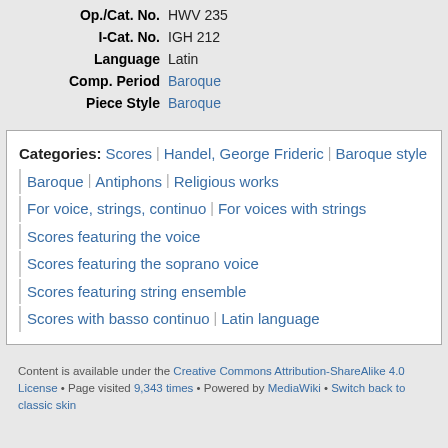| Op./Cat. No. | HWV 235 |
| I-Cat. No. | IGH 212 |
| Language | Latin |
| Comp. Period | Baroque |
| Piece Style | Baroque |
Categories: Scores | Handel, George Frideric | Baroque style | Baroque | Antiphons | Religious works | For voice, strings, continuo | For voices with strings | Scores featuring the voice | Scores featuring the soprano voice | Scores featuring string ensemble | Scores with basso continuo | Latin language
Content is available under the Creative Commons Attribution-ShareAlike 4.0 License • Page visited 9,343 times • Powered by MediaWiki • Switch back to classic skin